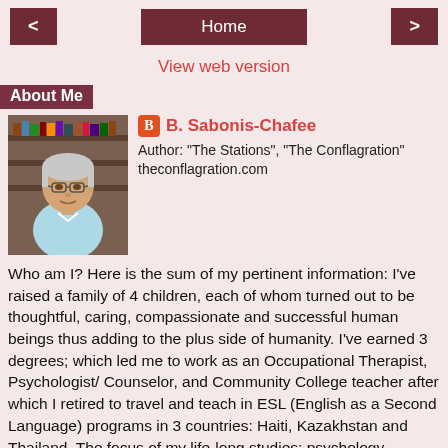< Home >
View web version
About Me
[Figure (photo): Profile photo of B. Sabonis-Chafee, an older woman with glasses]
B. Sabonis-Chafee
Author: "The Stations", "The Conflagration"
theconflagration.com
Who am I? Here is the sum of my pertinent information: I've raised a family of 4 children, each of whom turned out to be thoughtful, caring, compassionate and successful human beings thus adding to the plus side of humanity. I've earned 3 degrees; which led me to work as an Occupational Therapist, Psychologist/Counselor, and Community College teacher after which I retired to travel and teach in ESL (English as a Second Language) programs in 3 countries: Haiti, Kazakhstan and Thailand. The focus of my life-long studies: psychology, philosophy, theology and spirituality. I write: poems, essays, stories, and stray thoughts; Many of these are captured in my journals, one per year since 1963, plus prayer journals since 1982. I have written two works of fiction, "The Stations" and "The Conflagration" Learn more at...